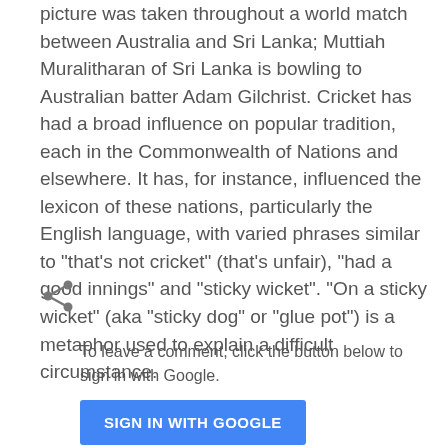picture was taken throughout a world match between Australia and Sri Lanka; Muttiah Muralitharan of Sri Lanka is bowling to Australian batter Adam Gilchrist. Cricket has had a broad influence on popular tradition, each in the Commonwealth of Nations and elsewhere. It has, for instance, influenced the lexicon of these nations, particularly the English language, with varied phrases similar to "that's not cricket" (that's unfair), "had a good innings" and "sticky wicket". "On a sticky wicket" (aka "sticky dog" or "glue pot") is a metaphor used to explain a difficult circumstance.
[Figure (other): Share icon (less-than style arrow/share symbol)]
To leave a comment, click the button below to sign in with Google.
SIGN IN WITH GOOGLE